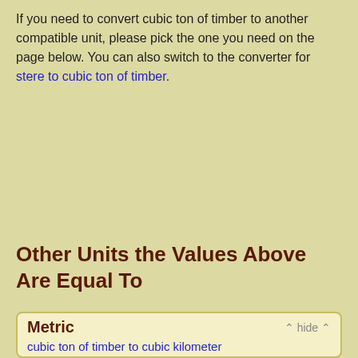If you need to convert cubic ton of timber to another compatible unit, please pick the one you need on the page below. You can also switch to the converter for stere to cubic ton of timber.
Other Units the Values Above Are Equal To
Metric  ᐱ hide ᐱ
cubic ton of timber to cubic kilometer